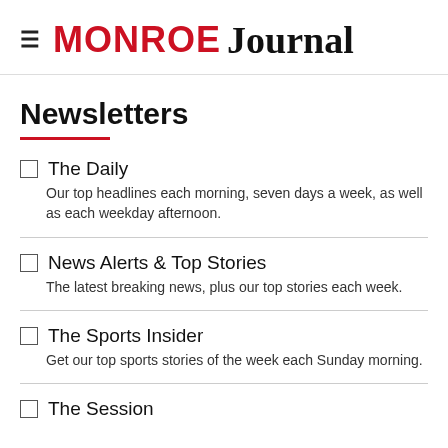Monroe Journal
Newsletters
The Daily — Our top headlines each morning, seven days a week, as well as each weekday afternoon.
News Alerts & Top Stories — The latest breaking news, plus our top stories each week.
The Sports Insider — Get our top sports stories of the week each Sunday morning.
The Session